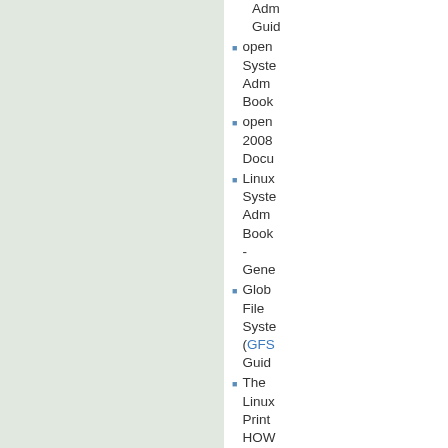Administration Guide
openSUSE System Administration Book
openSUSE 2008 Documentation
Linux System Administration Book - General
Global File System (GFS) Guide
The Linux Printing HOWTO